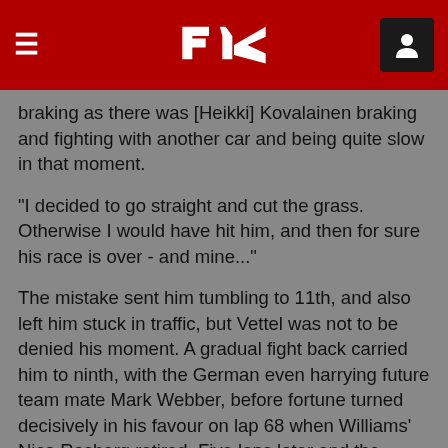F1 header navigation bar
braking as there was [Heikki] Kovalainen braking and fighting with another car and being quite slow in that moment.
"I decided to go straight and cut the grass. Otherwise I would have hit him, and then for sure his race is over - and mine..."
The mistake sent him tumbling to 11th, and also left him stuck in traffic, but Vettel was not to be denied his moment. A gradual fight back carried him to ninth, with the German even harrying future team mate Mark Webber, before fortune turned decisively in his favour on lap 68 when Williams' Nico Rosberg retired. Five laps later and the chequered flag fell: Vettel had claimed eighth, and broken Jenson Button's seven-year record to become the youngest points scorer in history.